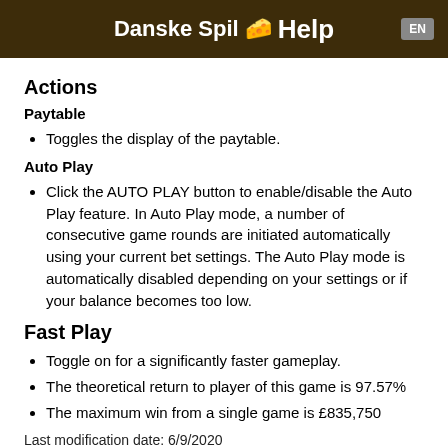Danske Spil 🧀 Help EN
Actions
Paytable
Toggles the display of the paytable.
Auto Play
Click the AUTO PLAY button to enable/disable the Auto Play feature. In Auto Play mode, a number of consecutive game rounds are initiated automatically using your current bet settings. The Auto Play mode is automatically disabled depending on your settings or if your balance becomes too low.
Fast Play
Toggle on for a significantly faster gameplay.
The theoretical return to player of this game is 97.57%
The maximum win from a single game is £835,750
Last modification date: 6/9/2020